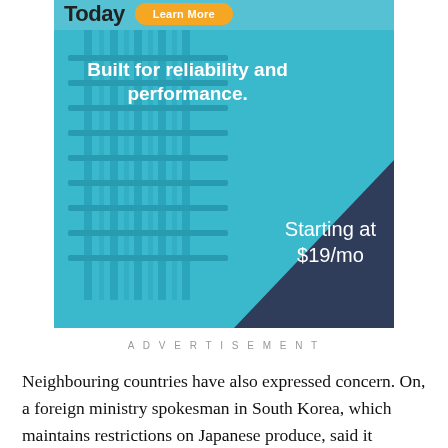[Figure (infographic): Advertisement banner showing server rack background image with text 'Built for reliability and performance.' in white on cyan/blue background, and 'Starting at $19/mo' on dark navy triangle overlay. Top shows partial text 'Today' and an orange 'Learn More' button.]
ADVERTISEMENT
Neighbouring countries have also expressed concern. On, a foreign ministry spokesman in South Korea, which maintains restrictions on Japanese produce, said it “expresses serious concerns that the decision could bring a direct